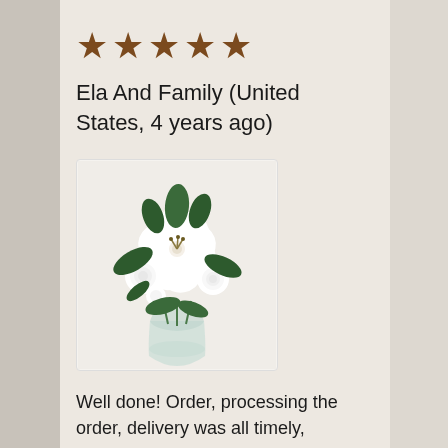[Figure (other): Five brown filled star icons indicating a 5-star rating]
Ela And Family (United States, 4 years ago)
[Figure (photo): A bouquet of white lilies and roses arranged in a clear glass vase with green foliage]
Well done! Order, processing the order, delivery was all timely, perfectly executed! Thank you very much Campo Dei Fiori!
Quality: Excellent
Support: Excellent